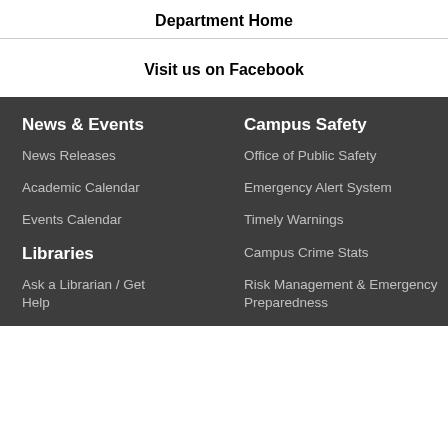Department Home
Visit us on Facebook
News & Events
News Releases
Academic Calendar
Events Calendar
Libraries
Ask a Librarian / Get Help
Campus Safety
Office of Public Safety
Emergency Alert System
Timely Warnings
Campus Crime Stats
Risk Management & Emergency Preparedness